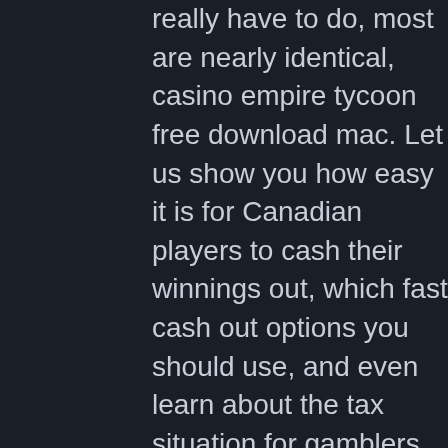really have to do, most are nearly identical, casino empire tycoon free download mac. Let us show you how easy it is for Canadian players to cash their winnings out, which fast cash out options you should use, and even learn about the tax situation for gamblers. Watch this 60-second video to find out how to cash out at an online casino. Welcome to vegas! grand casino tycoon is a fresh and colorful tycoon with unique puzzle elements. Design stunning casinos and lure in your guests by building. Grand casino tycoon torrent download for pc on this webpage. Design stunning casinos, host spectacular nights and manage your demanding guests. It is a full and complete game. Just download, run setup and install. Grand casino tycoon free download full version pc game setup in single direct link for. Title: casino tycoon simulator genre: action, adventure, casual, indie, simulation,